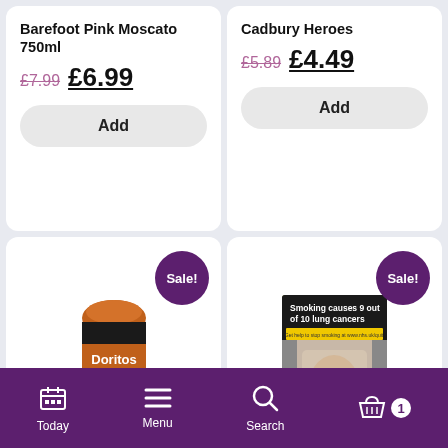Barefoot Pink Moscato 750ml
£7.99  £6.99
Add
Cadbury Heroes
£5.89  £4.49
Add
[Figure (photo): Doritos Stax Ultimate Cheese 170g tube]
Sale!
[Figure (photo): L&B Blue Real Blue cigarette pack showing health warning: Smoking causes 9 out of 10 lung cancers]
Sale!
Today  Menu  Search  1